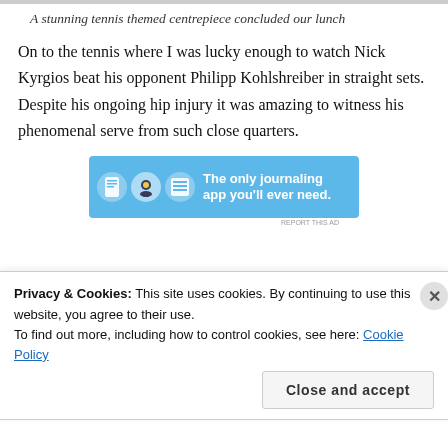A stunning tennis themed centrepiece concluded our lunch
On to the tennis where I was lucky enough to watch Nick Kyrgios beat his opponent Philipp Kohlshreiber in straight sets. Despite his ongoing hip injury it was amazing to witness his phenomenal serve from such close quarters.
[Figure (other): Advertisement banner for a journaling app with blue background, showing icons and text: 'The only journaling app you'll ever need.']
Privacy & Cookies: This site uses cookies. By continuing to use this website, you agree to their use.
To find out more, including how to control cookies, see here: Cookie Policy